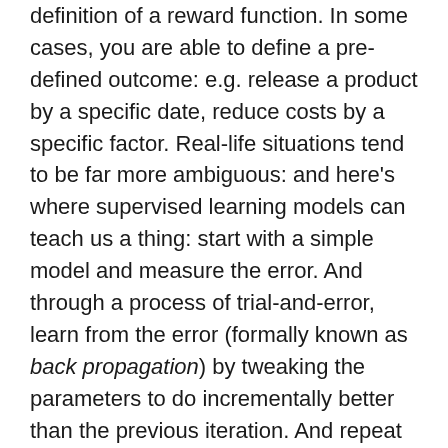definition of a reward function. In some cases, you are able to define a pre-defined outcome: e.g. release a product by a specific date, reduce costs by a specific factor. Real-life situations tend to be far more ambiguous: and here's where supervised learning models can teach us a thing: start with a simple model and measure the error. And through a process of trial-and-error, learn from the error (formally known as back propagation) by tweaking the parameters to do incrementally better than the previous iteration. And repeat until it cannot get better any more. This is, in essence, the 'gradient descent algorithm' which incrementally reduces the probability of errors until it cannot get any better.
#5. Learning is adjusting parameters based on feedback: Again, we can take inspiration from neural networks: they start with an initial set of